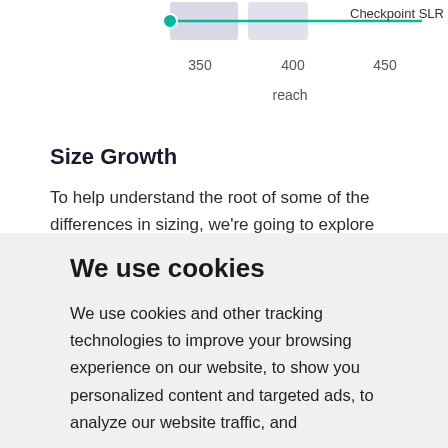[Figure (continuous-plot): Bottom portion of a line chart showing 'Checkpoint SLR' series with teal/green line and dot marker. X-axis shows values 350, 400, 450 with label 'reach'.]
Size Growth
To help understand the root of some of the differences in sizing, we're going to explore three different philosophies of frame design, specifically in consideration (or lack
We use cookies
We use cookies and other tracking technologies to improve your browsing experience on our website, to show you personalized content and targeted ads, to analyze our website traffic, and